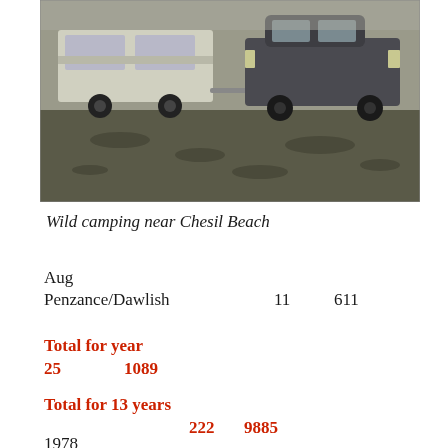[Figure (photo): Black and white photograph of a caravan/trailer being towed by a car, parked on scrubland or open ground, likely near Chesil Beach.]
Wild camping near Chesil Beach
Aug
Penzance/Dawlish    11    611
Total for year
25    1089
Total for 13 years
222    9885
1978